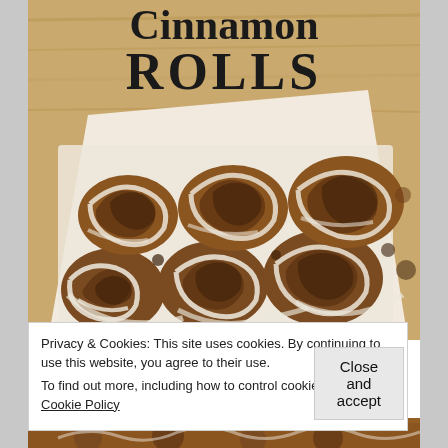[Figure (photo): Photo of cinnamon rolls with white icing/glaze in a baking pan lined with parchment paper, on a wooden surface. Title text 'Cinnamon ROLLS' overlaid in bold serif font at the top.]
Privacy & Cookies: This site uses cookies. By continuing to use this website, you agree to their use.
To find out more, including how to control cookies, see here: Cookie Policy
Close and accept